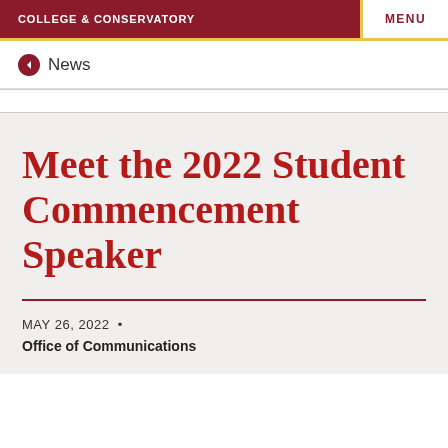COLLEGE & CONSERVATORY | MENU
← News
Meet the 2022 Student Commencement Speaker
MAY 26, 2022 •
Office of Communications